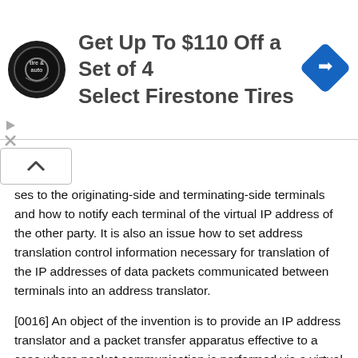[Figure (infographic): Advertisement banner: Firestone tire and auto logo (circular black badge), text 'Get Up To $110 Off a Set of 4 Select Firestone Tires', and a blue diamond-shaped navigation icon on the right.]
ses to the originating-side and terminating-side terminals and how to notify each terminal of the virtual IP address of the other party. It is also an issue how to set address translation control information necessary for translation of the IP addresses of data packets communicated between terminals into an address translator.
[0016] An object of the invention is to provide an IP address translator and a packet transfer apparatus effective to a case where packet communication is performed via a virtual communication path (session) between terminals of different protocol versions.
[0017] Another object of the invention is to provide an IP address translator and a packet transfer apparatus for achieving communication between terminals of different protocol versions while discarding data packets illegally using a destination address.
[0018] To achieve the objects, an IP address translator according to the invention comprises: means for assigning, in a process of establishing a session between an IPv4 apparatus having an IPv4 address and an IPv6